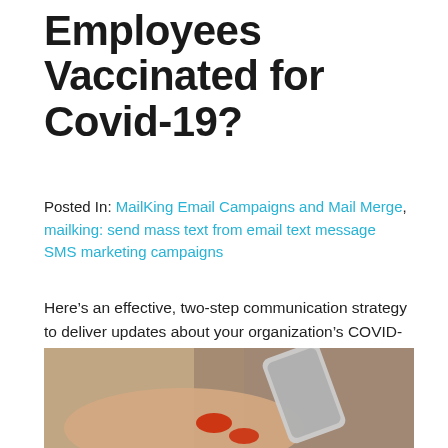Employees Vaccinated for Covid-19?
Posted In: MailKing Email Campaigns and Mail Merge, mailking: send mass text from email text message SMS marketing campaigns
Here’s an effective, two-step communication strategy to deliver updates about your organization’s COVID-19 vaccination process. Many first responders haven’t gotten their COVID-19 vaccination yet. As . . .
1/19/2021
MORE »
[Figure (photo): A person holding a smartphone with red nail polish, blurred background]